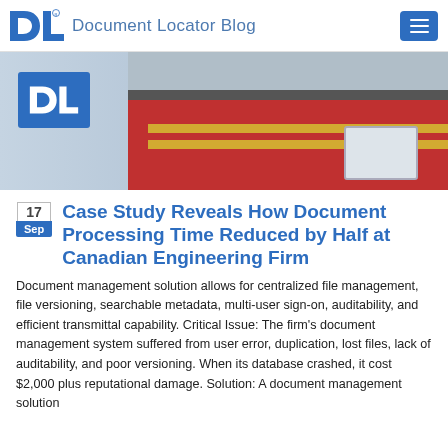Document Locator Blog
[Figure (photo): Hero banner image showing a worker in a red jacket with yellow safety stripes holding a tablet, with the Document Locator DL logo overlaid on the left side]
Case Study Reveals How Document Processing Time Reduced by Half at Canadian Engineering Firm
Document management solution allows for centralized file management, file versioning, searchable metadata, multi-user sign-on, auditability, and efficient transmittal capability. Critical Issue: The firm’s document management system suffered from user error, duplication, lost files, lack of auditability, and poor versioning. When its database crashed, it cost $2,000 plus reputational damage. Solution: A document management solution